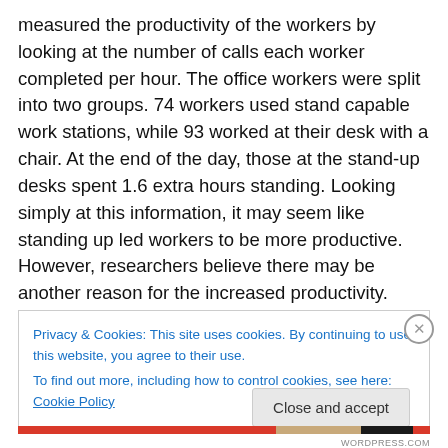measured the productivity of the workers by looking at the number of calls each worker completed per hour. The office workers were split into two groups. 74 workers used stand capable work stations, while 93 worked at their desk with a chair. At the end of the day, those at the stand-up desks spent 1.6 extra hours standing. Looking simply at this information, it may seem like standing up led workers to be more productive. However, researchers believe there may be another reason for the increased productivity.
Over the six month study, those using stand-up desks said
Privacy & Cookies: This site uses cookies. By continuing to use this website, you agree to their use.
To find out more, including how to control cookies, see here: Cookie Policy